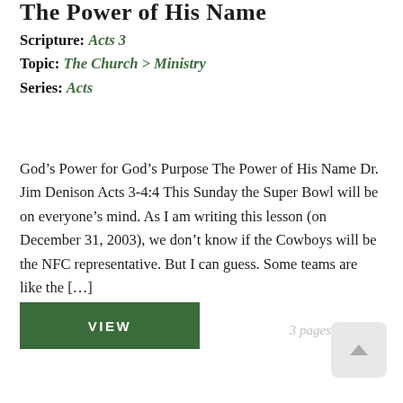The Power of His Name
Scripture: Acts 3
Topic: The Church > Ministry
Series: Acts
God’s Power for God’s Purpose The Power of His Name Dr. Jim Denison Acts 3-4:4 This Sunday the Super Bowl will be on everyone’s mind. As I am writing this lesson (on December 31, 2003), we don’t know if the Cowboys will be the NFC representative. But I can guess. Some teams are like the […]
VIEW
3 pages